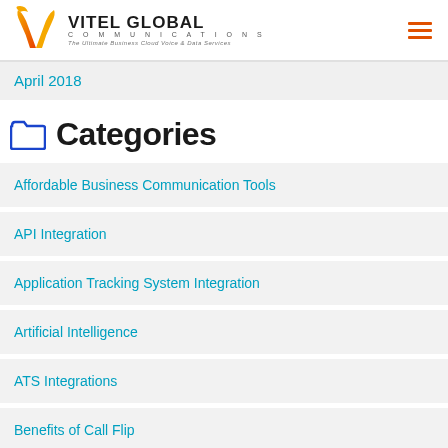Vitel Global Communications — The Ultimate Business Cloud Voice & Data Services
April 2018
Categories
Affordable Business Communication Tools
API Integration
Application Tracking System Integration
Artificial Intelligence
ATS Integrations
Benefits of Call Flip